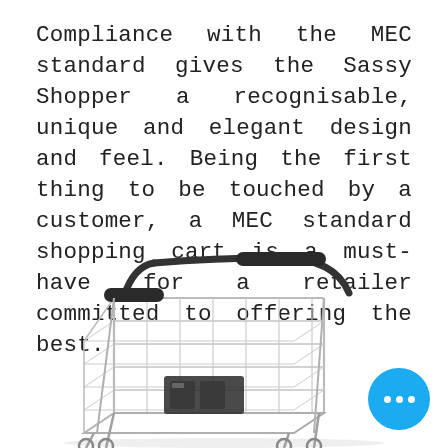Compliance with the MEC standard gives the Sassy Shopper a recognisable, unique and elegant design and feel. Being the first thing to be touched by a customer, a MEC standard shopping cart is a must-have for a retailer committed to offering the best.
[Figure (photo): A metal shopping cart (trolley) viewed from a slight angle, showing the handlebar with dark grip, wire basket body, and wheels. A dark item is visible inside the basket. In the lower right corner is a circular blue button with three white dots (ellipsis/more button).]